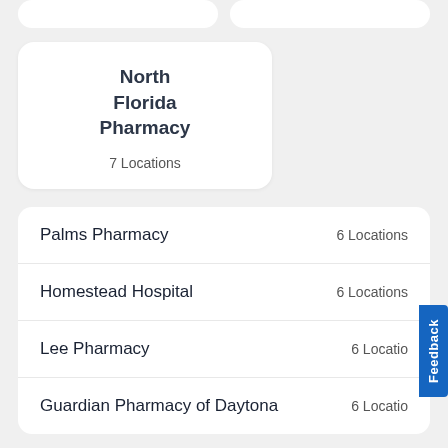North Florida Pharmacy
7 Locations
Palms Pharmacy — 6 Locations
Homestead Hospital — 6 Locations
Lee Pharmacy — 6 Locations
Guardian Pharmacy of Daytona — 6 Locations